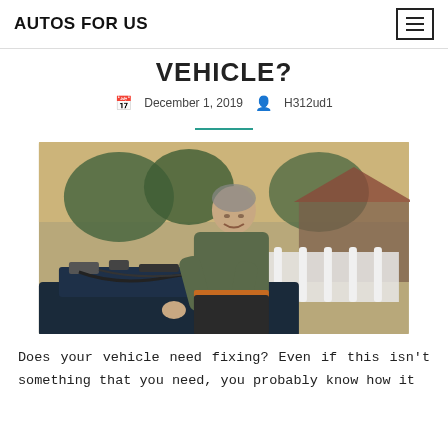AUTOS FOR US
VEHICLE?
December 1, 2019   H312ud1
[Figure (photo): A middle-aged man in work clothes leaning over an open car engine hood, working on the engine, with a house and trees in the background at dusk.]
Does your vehicle need fixing? Even if this isn't something that you need, you probably know how it